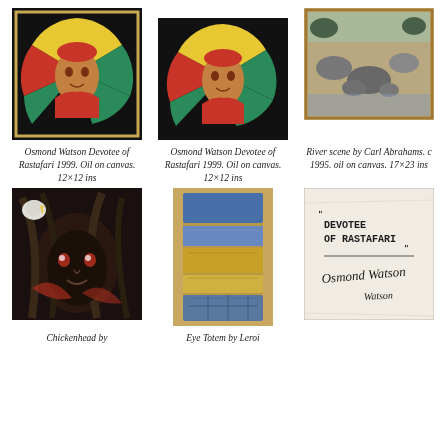[Figure (photo): Osmond Watson painting in frame – circular stained-glass-style portrait of a Rastafari devotee, oil on canvas]
Osmond Watson Devotee of Rastafari 1999. Oil on canvas. 12×12 ins
[Figure (photo): Osmond Watson painting – circular stained-glass-style portrait of a Rastafari devotee on black background, oil on canvas]
Osmond Watson Devotee of Rastafari 1999. Oil on canvas. 12×12 ins
[Figure (photo): River scene painting by Carl Abrahams, oil on canvas, showing rocks and water]
River scene by Carl Abrahams. c 1995. oil on canvas. 17×23 ins
[Figure (photo): Chickenhead painting – expressive dark figure with bird, oil on canvas]
Chickenhead by
[Figure (photo): Eye Totem artwork by Leroi – tall narrow mixed media piece with blue and gold tones]
Eye Totem by Leroi
[Figure (photo): Back of canvas showing handwritten text: DEVOTEE OF RASTAFARI with signature of Osmond Watson]